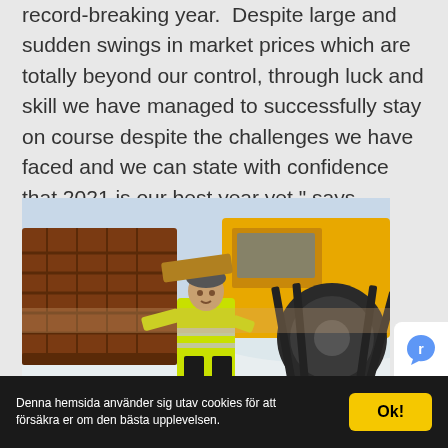record-breaking year. Despite large and sudden swings in market prices which are totally beyond our control, through luck and skill we have managed to successfully stay on course despite the challenges we have faced and we can state with confidence that 2021 is our best year yet," says
[Figure (photo): A man in a high-visibility yellow jacket and dark helmet stands next to heavy construction/mining machinery (large track and bucket visible) in a snowy outdoor environment.]
Denna hemsida använder sig utav cookies för att försäkra er om den bästa upplevelsen.